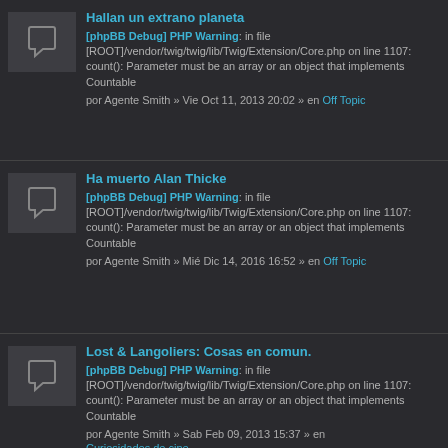Hallan un extrano planeta
[phpBB Debug] PHP Warning: in file [ROOT]/vendor/twig/twig/lib/Twig/Extension/Core.php on line 1107: count(): Parameter must be an array or an object that implements Countable
por Agente Smith » Vie Oct 11, 2013 20:02 » en Off Topic
Ha muerto Alan Thicke
[phpBB Debug] PHP Warning: in file [ROOT]/vendor/twig/twig/lib/Twig/Extension/Core.php on line 1107: count(): Parameter must be an array or an object that implements Countable
por Agente Smith » Mié Dic 14, 2016 16:52 » en Off Topic
Lost & Langoliers: Cosas en comun.
[phpBB Debug] PHP Warning: in file [ROOT]/vendor/twig/twig/lib/Twig/Extension/Core.php on line 1107: count(): Parameter must be an array or an object that implements Countable
por Agente Smith » Sab Feb 09, 2013 15:37 » en Curiosidades de cine